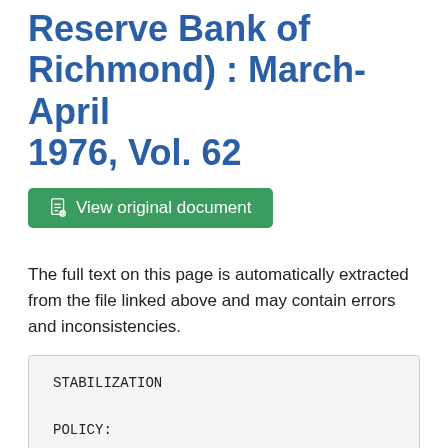Reserve Bank of Richmond) : March-April 1976, Vol. 62
View original document
The full text on this page is automatically extracted from the file linked above and may contain errors and inconsistencies.
STABILIZATION

POLICY:

TIME FOR A REAPPRAISAL?
Audrey N. Suellirlgs

The combination
of rampant
increasing...